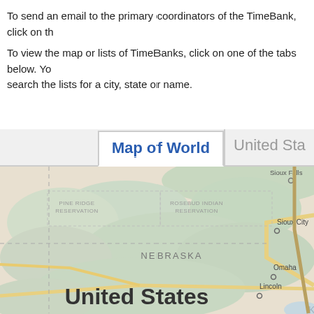To send an email to the primary coordinators of the TimeBank, click on th...
To view the map or lists of TimeBanks, click on one of the tabs below. Yo... search the lists for a city, state or name.
[Figure (map): Map of the United States showing Nebraska region with cities including Sioux Falls, Sioux City, Omaha, Lincoln. Also shows Pine Ridge Reservation and Rosebud Indian Reservation labels. 'United States' label visible in lower portion.]